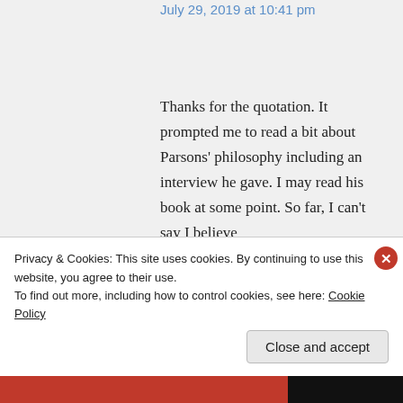July 29, 2019 at 10:41 pm
Thanks for the quotation. It prompted me to read a bit about Parsons' philosophy including an interview he gave. I may read his book at some point. So far, I can't say I believe
Privacy & Cookies: This site uses cookies. By continuing to use this website, you agree to their use.
To find out more, including how to control cookies, see here: Cookie Policy